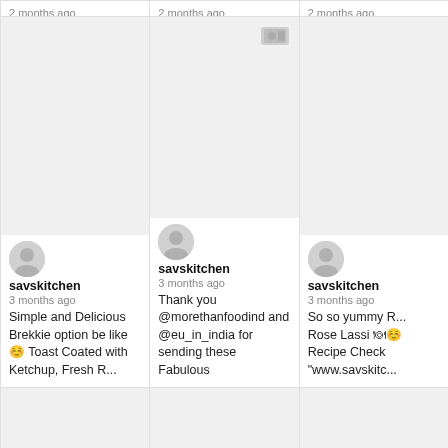2 months ago
Mango Salsa 😊🍽 Tangy, Tasty & Healthy! So here is a dish for you lovelies. whi...
2 months ago
Happy New Week with this 😊 Dragon Fruit Rose Milkshake 😊🍽 One of the yummiest...
2 months ago
Happy Monday 😊 Onion & Ca... Gouda Cheese Sandwich 🍽😊🍽
[Figure (photo): Blank image card with user avatar for savskitchen]
savskitchen
3 months ago
Simple and Delicious Brekkie option be like 😊 Toast Coated with Ketchup, Fresh R...
[Figure (photo): Blank image card with video icon and user avatar for savskitchen]
savskitchen
3 months ago
Thank you @morethanfoodind and @eu_in_india for sending these Fabulous
[Figure (photo): Blank image card with user avatar for savskitchen]
savskitchen
3 months ago
So so yummy R... Rose Lassi 🍽😊 Recipe Check "www.savskitc...
[Figure (photo): Partial blank card row 3 column 1]
[Figure (photo): Partial blank card row 3 column 2]
[Figure (photo): Partial blank card row 3 column 3]